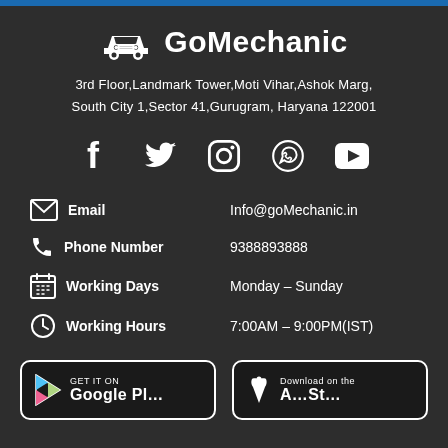[Figure (logo): GoMechanic logo with car icon and text 'GoMechanic']
3rd Floor,Landmark Tower,Moti Vihar,Ashok Marg,
South City 1,Sector 41,Gurugram, Haryana 122001
[Figure (infographic): Social media icons: Facebook, Twitter, Instagram, WhatsApp, YouTube]
Email    Info@goMechanic.in
Phone Number    9388893888
Working Days    Monday - Sunday
Working Hours    7:00AM - 9:00PM(IST)
[Figure (screenshot): Google Play and Apple App Store download buttons]